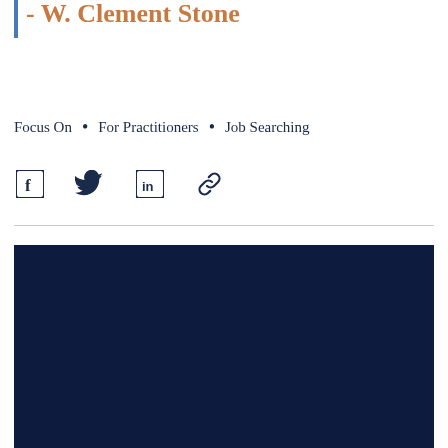- W. Clement Stone
Focus On  •  For Practitioners  •  Job Searching
[Figure (infographic): Social sharing icons: Facebook, Twitter, LinkedIn, and a link/chain icon]
[Figure (photo): Dark navy blue image block, appears to be a photo with very dark/navy background, content obscured]